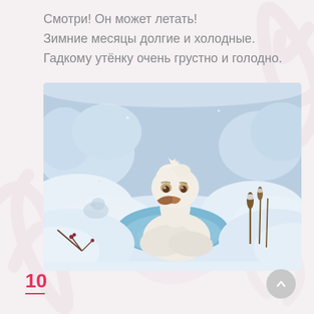Смотри! Он может летать!
Зимние месяцы долгие и холодные.
Гадкому утёнку очень грустно и голодно.
[Figure (illustration): Illustration of the Ugly Duckling — a sad white duckling sitting in an icy pond surrounded by snow-covered trees and frozen landscape. The duckling looks cold and forlorn, with snow and bare branches around it, and reeds with cattails visible to the right.]
10